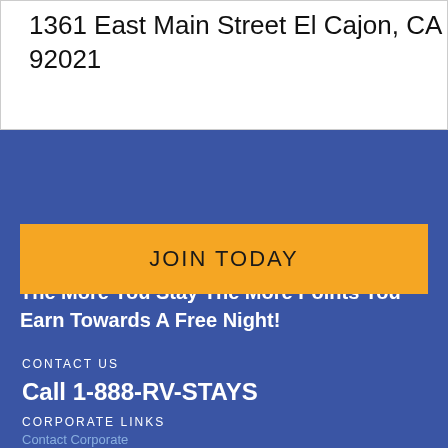1361 East Main Street El Cajon, CA 92021
The More You Stay The More Points You Earn Towards A Free Night!
JOIN TODAY
CONTACT US
Call 1-888-RV-STAYS
CORPORATE LINKS
Contact Corporate